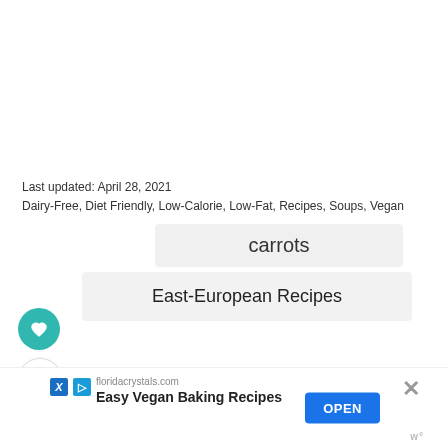Last updated: April 28, 2021
Dairy-Free, Diet Friendly, Low-Calorie, Low-Fat, Recipes, Soups, Vegan
carrots
East-European Recipes
[Figure (other): Heart/favorite button (teal circle with heart icon)]
[Figure (other): Share button (white circle with share icon)]
floridacrystals.com
Easy Vegan Baking Recipes
OPEN